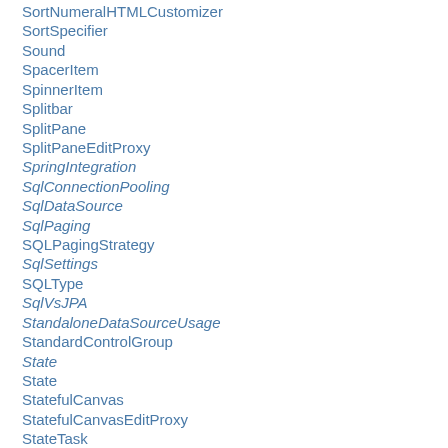SortNumeralHTMLCustomizer
SortSpecifier
Sound
SpacerItem
SpinnerItem
Splitbar
SplitPane
SplitPaneEditProxy
SpringIntegration
SqlConnectionPooling
SqlDataSource
SqlPaging
SQLPagingStrategy
SqlSettings
SQLType
SqlVsJPA
StandaloneDataSourceUsage
StandardControlGroup
State
State
StatefulCanvas
StatefulCanvasEditProxy
StateTask
StaticTextItem
StatusCodes